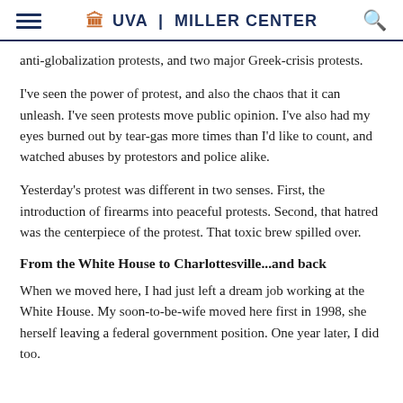UVA | MILLER CENTER
anti-globalization protests, and two major Greek-crisis protests.
I've seen the power of protest, and also the chaos that it can unleash. I've seen protests move public opinion. I've also had my eyes burned out by tear-gas more times than I'd like to count, and watched abuses by protestors and police alike.
Yesterday's protest was different in two senses. First, the introduction of firearms into peaceful protests. Second, that hatred was the centerpiece of the protest. That toxic brew spilled over.
From the White House to Charlottesville...and back
When we moved here, I had just left a dream job working at the White House. My soon-to-be-wife moved here first in 1998, she herself leaving a federal government position. One year later, I did too.